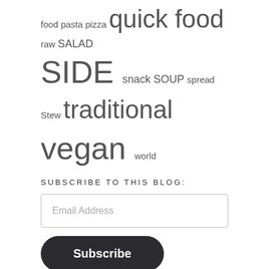food pasta pizza quick food raw SALAD SIDE snack SOUP spread Stew traditional vegan world
SUBSCRIBE TO THIS BLOG:
Email Address
Subscribe
Instagram  Facebook  Vimeo  Patreon
All contents © Joumana Medlej 1997-2022. Please do not reproduce any of my work without permission.